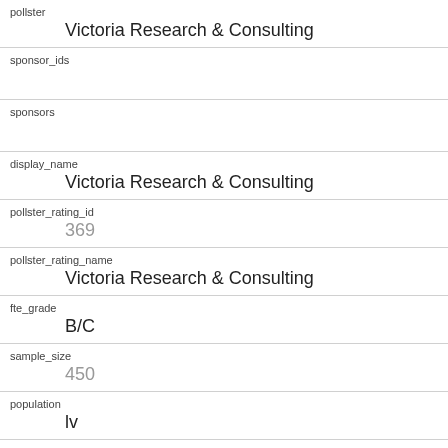| pollster | Victoria Research & Consulting |
| sponsor_ids |  |
| sponsors |  |
| display_name | Victoria Research & Consulting |
| pollster_rating_id | 369 |
| pollster_rating_name | Victoria Research & Consulting |
| fte_grade | B/C |
| sample_size | 450 |
| population | lv |
| population_full | lv |
| methodology |  |